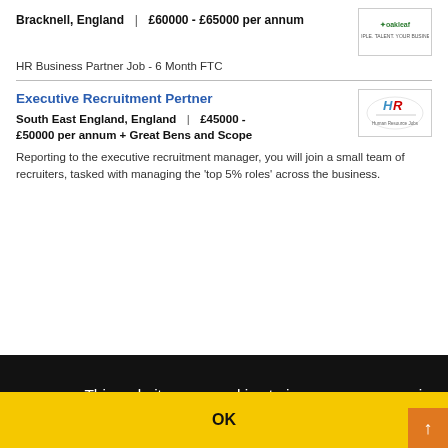Bracknell, England | £60000 - £65000 per annum
HR Business Partner Job - 6 Month FTC
Executive Recruitment Pertner
South East England, England | £45000 - £50000 per annum + Great Bens and Scope
Reporting to the executive recruitment manager, you will join a small team of recruiters, tasked with managing the 'top 5% roles' across the business.
This website uses cookies to improve your experience and for ads personalisation. By continuing to browse this site you are agreeing to our use of these cookies.
You can learn more about the cookies we use here.
OK